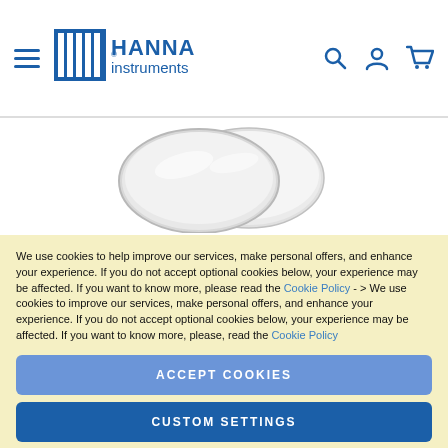Hanna Instruments — navigation header with logo, hamburger menu, search, account, and cart icons
[Figure (photo): Two circular silver battery coin cells partially visible against a white background]
We use cookies to help improve our services, make personal offers, and enhance your experience. If you do not accept optional cookies below, your experience may be affected. If you want to know more, please read the Cookie Policy - > We use cookies to improve our services, make personal offers, and enhance your experience. If you do not accept optional cookies below, your experience may be affected. If you want to know more, please, read the Cookie Policy
ACCEPT COOKIES
CUSTOM SETTINGS